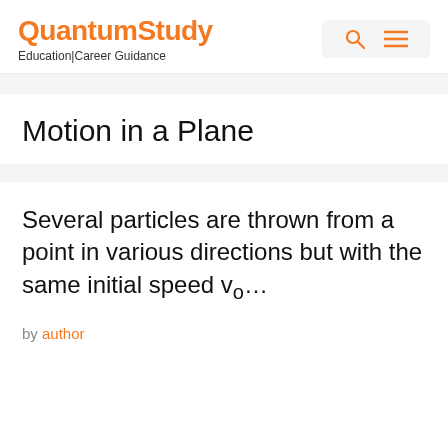QuantumStudy
Education|Career Guidance
Motion in a Plane
Several particles are thrown from a point in various directions but with the same initial speed v₀...
by author